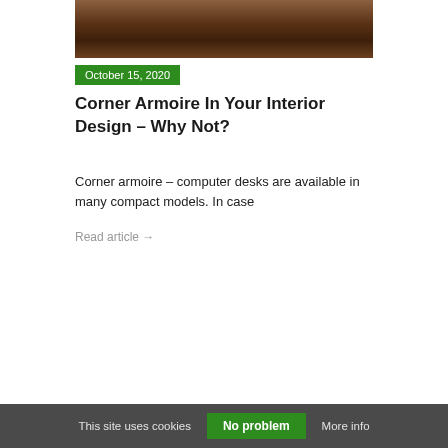[Figure (photo): Photo of a dark wood corner armoire/wardrobe with decorative panel doors, partial view cropped at top]
October 15, 2020
Corner Armoire In Your Interior Design – Why Not?
Corner armoire – computer desks are available in many compact models. In case
Read article →
This site uses cookies  No problem  More info